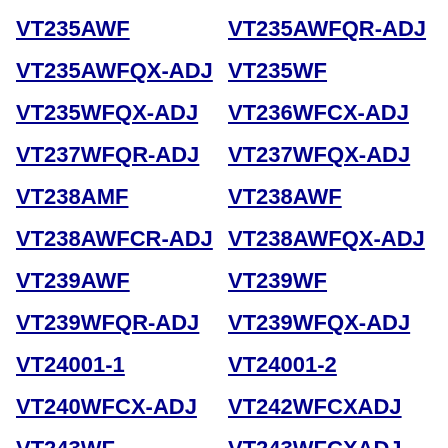VT235AWF
VT235AWFQR-ADJ
VT235AWFQX-ADJ
VT235WF
VT235WFQX-ADJ
VT236WFCX-ADJ
VT237WFQR-ADJ
VT237WFQX-ADJ
VT238AMF
VT238AWF
VT238AWFCR-ADJ
VT238AWFQX-ADJ
VT239AWF
VT239WF
VT239WFQR-ADJ
VT239WFQX-ADJ
VT24001-1
VT24001-2
VT240WFCX-ADJ
VT242WFCXADJ
VT243WF
VT243WFCXADJ